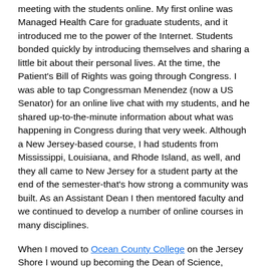meeting with the students online. My first online was Managed Health Care for graduate students, and it introduced me to the power of the Internet. Students bonded quickly by introducing themselves and sharing a little bit about their personal lives. At the time, the Patient's Bill of Rights was going through Congress. I was able to tap Congressman Menendez (now a US Senator) for an online live chat with my students, and he shared up-to-the-minute information about what was happening in Congress during that very week. Although a New Jersey-based course, I had students from Mississippi, Louisiana, and Rhode Island, as well, and they all came to New Jersey for a student party at the end of the semester-that's how strong a community was built. As an Assistant Dean I then mentored faculty and we continued to develop a number of online courses in many disciplines.
When I moved to Ocean County College on the Jersey Shore I wound up becoming the Dean of Science, Engineering, Health Sciences and Human Performance for a time. We obtained a nearly half million dollar grant from the Robert Wood Johnson Foundation to create a One Day per Week Nursing Program in which the didactic portion was taught totally online and the students attended clinical sessions only one day per week. This online education model addressed the hospital RN shortage crisis, and